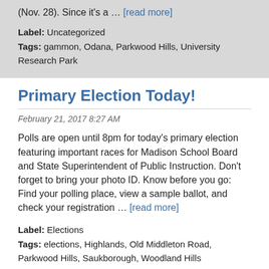(Nov. 28). Since it's a … [read more]
Label: Uncategorized
Tags: gammon, Odana, Parkwood Hills, University Research Park
Primary Election Today!
February 21, 2017 8:27 AM
Polls are open until 8pm for today's primary election featuring important races for Madison School Board and State Superintendent of Public Instruction. Don't forget to bring your photo ID. Know before you go: Find your polling place, view a sample ballot, and check your registration … [read more]
Label: Elections
Tags: elections, Highlands, Old Middleton Road, Parkwood Hills, Saukborough, Woodland Hills
Crestwood polling place moving